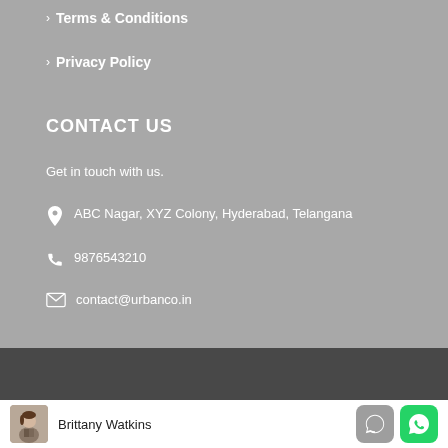Terms & Conditions
Privacy Policy
CONTACT US
Get in touch with us.
ABC Nagar, XYZ Colony, Hyderabad, Telangana
9876543210
contact@urbanco.in
Brittany Watkins